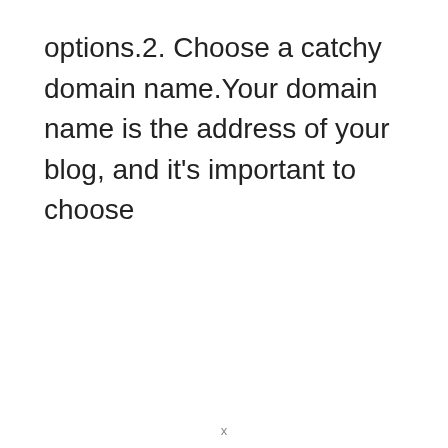options.2. Choose a catchy domain name.Your domain name is the address of your blog, and it's important to choose
x